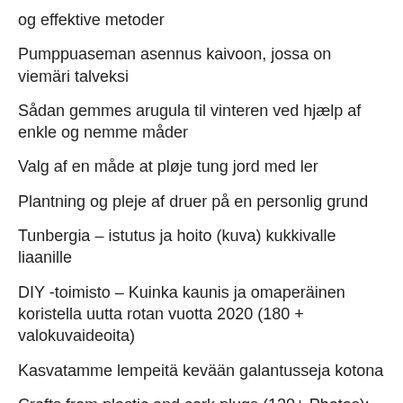og effektive metoder
Pumppuaseman asennus kaivoon, jossa on viemäri talveksi
Sådan gemmes arugula til vinteren ved hjælp af enkle og nemme måder
Valg af en måde at pløje tung jord med ler
Plantning og pleje af druer på en personlig grund
Tunbergia – istutus ja hoito (kuva) kukkivalle liaanille
DIY -toimisto – Kuinka kaunis ja omaperäinen koristella uutta rotan vuotta 2020 (180 + valokuvaideoita)
Kasvatamme lempeitä kevään galantusseja kotona
Crafts from plastic and cork plugs (130+ Photos):